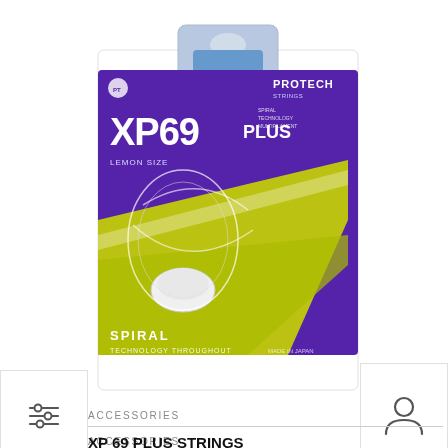[Figure (photo): Product packaging for Protech XP69 Plus badminton strings. Purple and yellow-green packaging with 'XP69 PLUS' text prominently displayed, spiral technology noted at bottom, with a white shuttlecock graphic.]
[Figure (other): Filter/sliders icon button on left side]
[Figure (other): User/account person icon button on right side]
ACCESSORIES
XP 69 PLUS STRINGS
$8.00